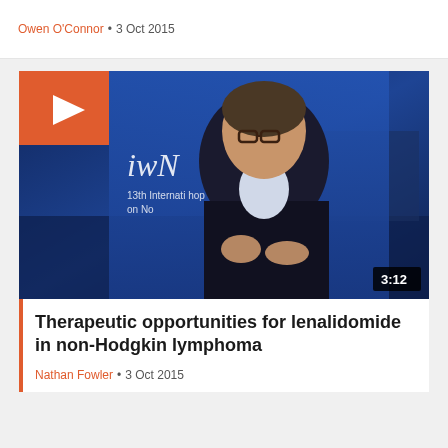Owen O'Connor • 3 Oct 2015
[Figure (screenshot): Video thumbnail showing a man in a dark suit speaking at the 13th International Workshop on Non-Hodgkin Lymphoma (iwNHL). A play button is visible in the top-left corner on an orange background. A duration badge showing 3:12 is in the bottom-right corner.]
Therapeutic opportunities for lenalidomide in non-Hodgkin lymphoma
Nathan Fowler • 3 Oct 2015